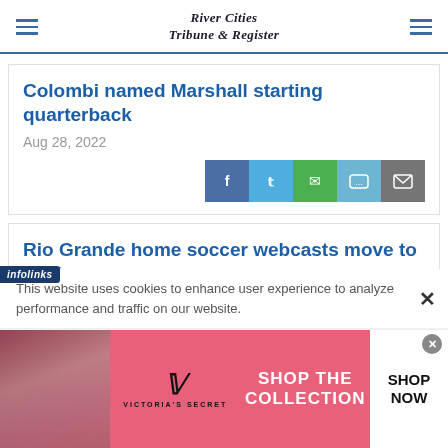River Cities Tribune & Register
Colombi named Marshall starting quarterback
Aug 28, 2022
Rio Grande home soccer webcasts move to PPV
Aug 28, 2022
This website uses cookies to enhance user experience to analyze performance and traffic on our website.
[Figure (advertisement): Victoria's Secret advertisement banner with model, VS logo, 'SHOP THE COLLECTION' text and 'SHOP NOW' button]